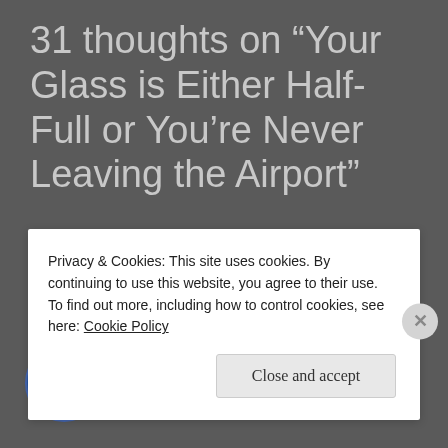31 thoughts on “Your Glass is Either Half-Full or You’re Never Leaving the Airport”
[Figure (illustration): Geometric quilted pattern avatar icon in blue and white, circular shape with diamond/cross patterns]
Kelly
JANUARY 15, 2015 AT 12:39 AM
Privacy & Cookies: This site uses cookies. By continuing to use this website, you agree to their use.
To find out more, including how to control cookies, see here: Cookie Policy
Close and accept